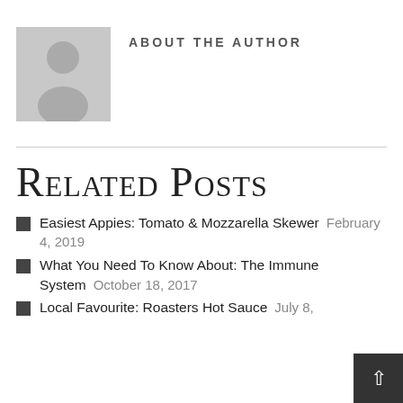ABOUT THE AUTHOR
[Figure (illustration): Generic grey placeholder avatar image showing a silhouette of a person]
Related Posts
Easiest Appies: Tomato & Mozzarella Skewer   February 4, 2019
What You Need To Know About: The Immune System   October 18, 2017
Local Favourite: Roasters Hot Sauce   July 8,